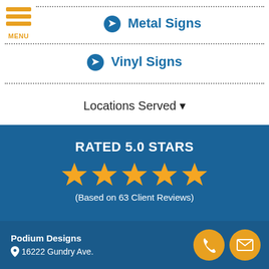Metal Signs
Vinyl Signs
Locations Served
RATED 5.0 STARS
(Based on 63 Client Reviews)
Podium Designs
16222 Gundry Ave.